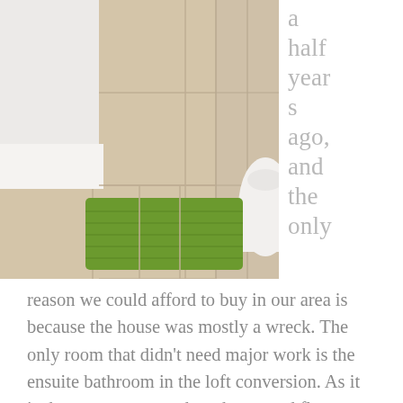[Figure (photo): Bathroom photo showing a green bath mat on beige/cream tiles, with a white bathtub on the left and a white toilet partially visible on the right. The tiles have a warm beige color with grout lines.]
a half years ago, and the only
reason we could afford to buy in our area is because the house was mostly a wreck. The only room that didn't need major work is the ensuite bathroom in the loft conversion. As it is the guest room, and on the second floor, we do not use this bathroom very often. But every once in a while I go up there and look at it in dismay. It is just not to my taste. It is so beige and blah. So I decided to see if I could give it a